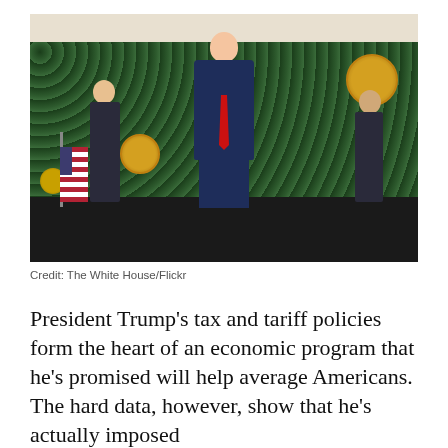[Figure (photo): President Trump in a navy suit and red tie standing on a stage in front of a green hedge wall, with people clapping on either side, and gold seals visible on the wall and an American flag to the left.]
Credit: The White House/Flickr
President Trump's tax and tariff policies form the heart of an economic program that he's promised will help average Americans. The hard data, however, show that he's actually imposed